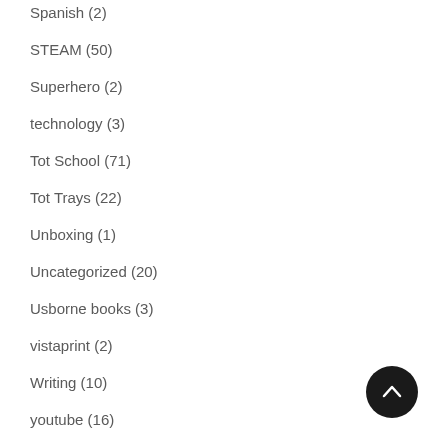Spanish (2)
STEAM (50)
Superhero (2)
technology (3)
Tot School (71)
Tot Trays (22)
Unboxing (1)
Uncategorized (20)
Usborne books (3)
vistaprint (2)
Writing (10)
youtube (16)